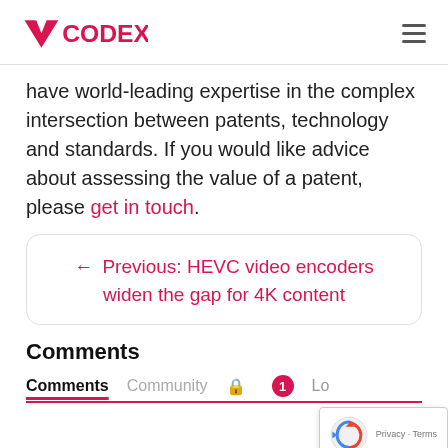VCODEX
have world-leading expertise in the complex intersection between patents, technology and standards. If you would like advice about assessing the value of a patent, please get in touch.
← Previous: HEVC video encoders widen the gap for 4K content
Comments
Comments  Community  🔒  1  Lo